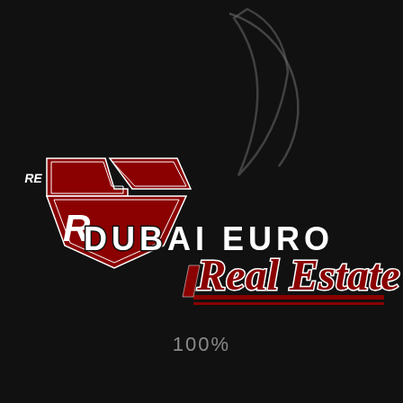[Figure (logo): Dubai Euro Real Estate company logo on dark background. Left side: geometric shield/flag shaped logo mark in dark red/crimson with white outlines and stylized 'RE' letters. Right side: text 'DUBAI EURO' in bold white uppercase letters with black outline, below it 'Real Estate' in large bold italic dark red/crimson letters with white outline and red underline stripes. Below the logo, gray text reads '100%'. A partial crescent moon arc is visible in gray at the top center of the image.]
100%